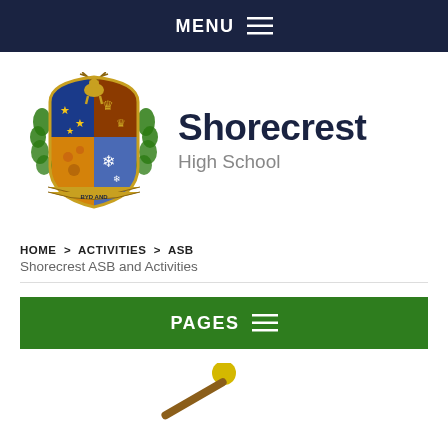MENU ≡
[Figure (logo): Shorecrest High School coat of arms crest with a deer, shield quartered with blue and yellow sections, and motto banner]
Shorecrest
High School
HOME > ACTIVITIES > ASB
Shorecrest ASB and Activities
PAGES ≡